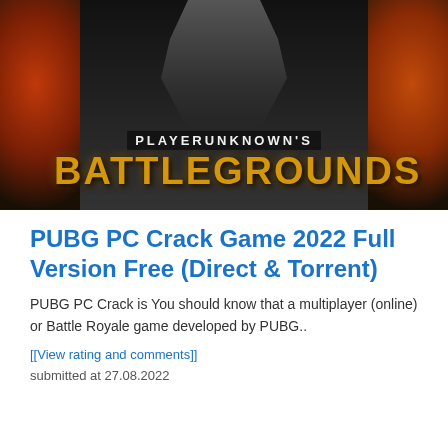[Figure (photo): PUBG PlayerUnknown's Battlegrounds game cover art showing a soldier silhouette with the game logo in gold and white text on a dark fiery background]
PUBG PC Crack Game 2022 Full Version Free (Direct & Torrent)
PUBG PC Crack is You should know that a multiplayer (online) or Battle Royale game developed by PUBG..
[[View rating and comments]]
submitted at 27.08.2022